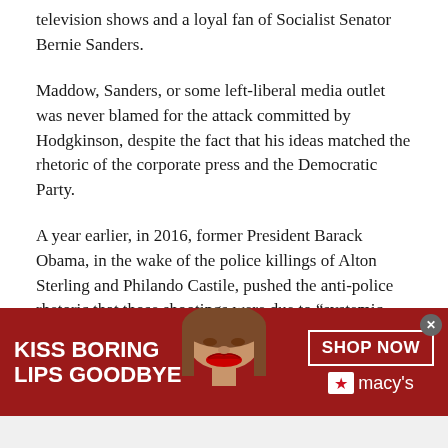television shows and a loyal fan of Socialist Senator Bernie Sanders.
Maddow, Sanders, or some left-liberal media outlet was never blamed for the attack committed by Hodgkinson, despite the fact that his ideas matched the rhetoric of the corporate press and the Democratic Party.
A year earlier, in 2016, former President Barack Obama, in the wake of the police killings of Alton Sterling and Philando Castile, pushed the anti-police rhetoric that those shootings were due to “systemic racism” and violence against blacks.
[Figure (photo): Advertisement banner for Macy's lipstick product. Red background with a woman's face showing red lips in the center. Left text reads 'KISS BORING LIPS GOODBYE' in white bold uppercase. Right side shows 'SHOP NOW' button outline and Macy's star logo in white.]